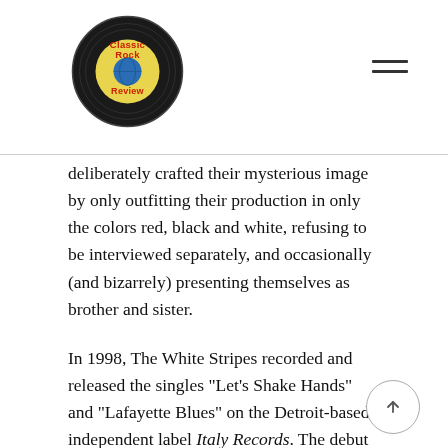Classic Rock Review
deliberately crafted their mysterious image by only outfitting their production in only the colors red, black and white, refusing to be interviewed separately, and occasionally (and bizarrely) presenting themselves as brother and sister.
In 1998, The White Stripes recorded and released the singles “Let’s Shake Hands” and “Lafayette Blues” on the Detroit-based independent label Italy Records. The debut album was recorded in Detroit in January 1999 with producer Jim Diamond and released in the summer of that year.